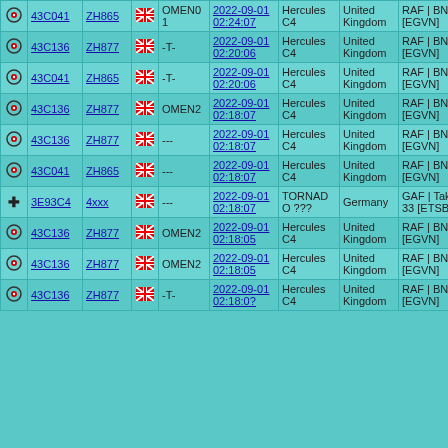|  | ID | Serial |  | Callsign | Date/Time | Type | Country | Unit |
| --- | --- | --- | --- | --- | --- | --- | --- | --- |
| ⊙ | 43C041 | ZH865 | 🚫 | OMEN01 | 2022-09-01 02:24:07 | Hercules C4 | United Kingdom | RAF | BNTW [EGVN] |
| ⊙ | 43C136 | ZH877 | 🚫 | -T- | 2022-09-01 02:20:06 | Hercules C4 | United Kingdom | RAF | BNTW [EGVN] |
| ⊙ | 43C041 | ZH865 | 🚫 | -T- | 2022-09-01 02:20:06 | Hercules C4 | United Kingdom | RAF | BNTW [EGVN] |
| ⊙ | 43C136 | ZH877 | 🚫 | OMEN2 | 2022-09-01 02:18:07 | Hercules C4 | United Kingdom | RAF | BNTW [EGVN] |
| ⊙ | 43C136 | ZH877 | 🚫 | --- | 2022-09-01 02:18:07 | Hercules C4 | United Kingdom | RAF | BNTW [EGVN] |
| ⊙ | 43C041 | ZH865 | 🚫 | --- | 2022-09-01 02:18:07 | Hercules C4 | United Kingdom | RAF | BNTW [EGVN] |
| ✚ | 3E93C4 | 4xxx | 🚫 | --- | 2022-09-01 02:18:07 | TORNADO ??? | Germany | GAF | TaktLwG-33 [ETSB] |
| ⊙ | 43C136 | ZH877 | 🚫 | OMEN2 | 2022-09-01 02:18:05 | Hercules C4 | United Kingdom | RAF | BNTW [EGVN] |
| ⊙ | 43C136 | ZH877 | 🚫 | OMEN2 | 2022-09-01 02:18:05 | Hercules C4 | United Kingdom | RAF | BNTW [EGVN] |
| ⊙ | 43C136 | ZH877 | 🚫 | -T- | 2022-09-01 02:18:0? | Hercules C4 | United Kingdom | RAF | BNTW [EGVN] |